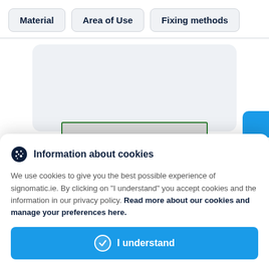Material
Area of Use
Fixing methods
[Figure (screenshot): Partially visible product configuration card with a green-bordered selection bar]
Information about cookies
We use cookies to give you the best possible experience of signomatic.ie. By clicking on "I understand" you accept cookies and the information in our privacy policy. Read more about our cookies and manage your preferences here.
I understand